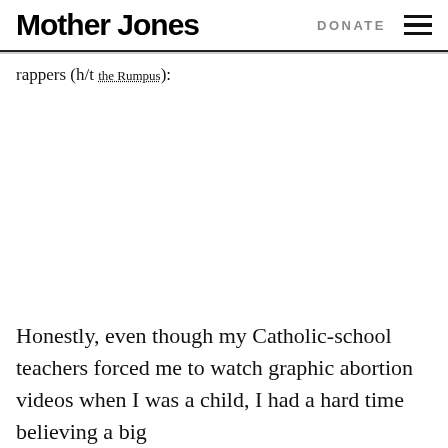Mother Jones   DONATE
rappers (h/t the Rumpus):
Honestly, even though my Catholic-school teachers forced me to watch graphic abortion videos when I was a child, I had a hard time believing a big